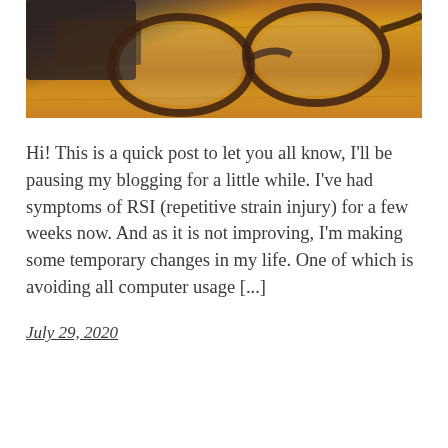[Figure (photo): Photo of eyeglasses resting on a wooden surface with warm golden-brown tones. The glasses have dark brown/tortoiseshell frames and are viewed from above.]
Hi! This is a quick post to let you all know, I'll be pausing my blogging for a little while. I've had symptoms of RSI (repetitive strain injury) for a few weeks now. And as it is not improving, I'm making some temporary changes in my life. One of which is avoiding all computer usage [...]
July 29, 2020